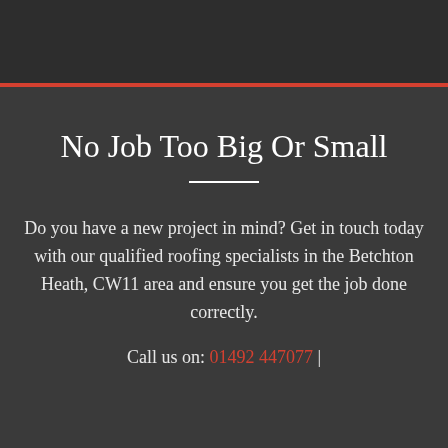No Job Too Big Or Small
Do you have a new project in mind? Get in touch today with our qualified roofing specialists in the Betchton Heath, CW11 area and ensure you get the job done correctly.
Call us on: 01492 447077 |